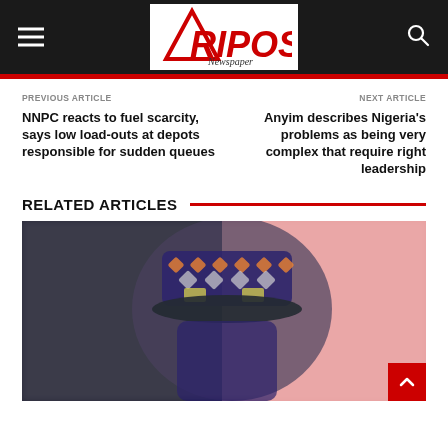Afripost Newspaper
PREVIOUS ARTICLE
NNPC reacts to fuel scarcity, says low load-outs at depots responsible for sudden queues
NEXT ARTICLE
Anyim describes Nigeria's problems as being very complex that require right leadership
RELATED ARTICLES
[Figure (photo): Blurred photo of a traditional beaded cap/crown on a person's head against a red background]